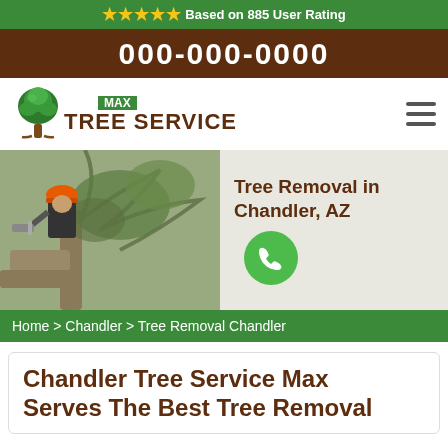★★★★★ Based on 885 User Rating
000-000-0000
[Figure (logo): Max Tree Service logo with green tree icon and brown text]
[Figure (photo): Worker in orange helmet trimming a tree with a chainsaw; right side shows text 'Tree Removal in Chandler, AZ' with green phone button]
Home > Chandler > Tree Removal Chandler
Chandler Tree Service Max Serves The Best Tree Removal